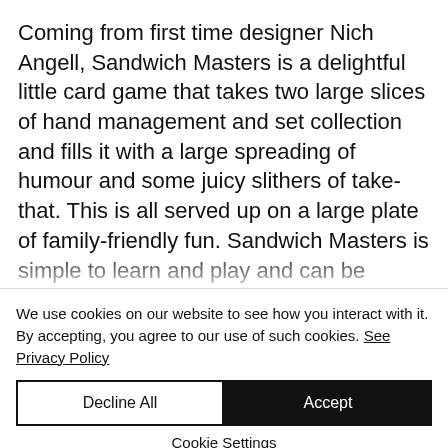Coming from first time designer Nich Angell, Sandwich Masters is a delightful little card game that takes two large slices of hand management and set collection and fills it with a large spreading of humour and some juicy slithers of take-that. This is all served up on a large plate of family-friendly fun. Sandwich Masters is simple to learn and play and can be adapted easily for any ages from four up. If you are looking for
We use cookies on our website to see how you interact with it. By accepting, you agree to our use of such cookies. See Privacy Policy
Decline All
Accept
Cookie Settings